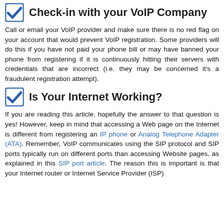Check-in with your VoIP Company
Call or email your VoIP provider and make sure there is no red flag on your account that would prevent VoIP registration. Some providers will do this if you have not paid your phone bill or may have banned your phone from registering if it is continuously hitting their servers with credentials that are incorrect (i.e. they may be concerned it's a fraudulent registration attempt).
Is Your Internet Working?
If you are reading this article, hopefully the answer to that question is yes! However, keep in mind that accessing a Web page on the Internet is different from registering an IP phone or Analog Telephone Adapter (ATA). Remember, VoIP communicates using the SIP protocol and SIP ports typically run on different ports than accessing Website pages, as explained in this SIP port article. The reason this is important is that your Internet router or Internet Service Provider (ISP)